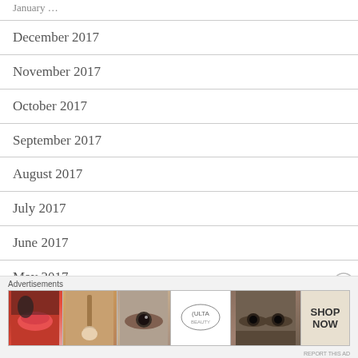January …
December 2017
November 2017
October 2017
September 2017
August 2017
July 2017
June 2017
May 2017
April 2017
March 2017
[Figure (other): Ulta Beauty advertisement banner with makeup images (lips, brush, eye, Ulta logo, eyes) and SHOP NOW call to action]